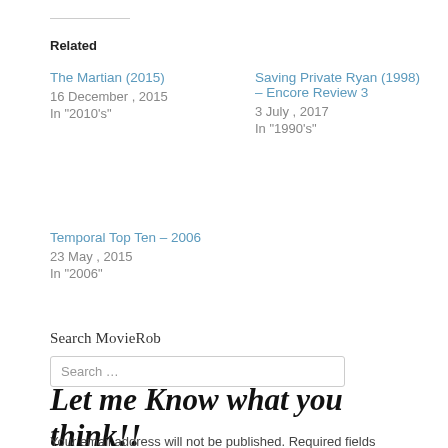Related
The Martian (2015)
16 December , 2015
In "2010's"
Saving Private Ryan (1998) – Encore Review 3
3 July , 2017
In "1990's"
Temporal Top Ten – 2006
23 May , 2015
In "2006"
Search MovieRob
Search …
Let me Know what you think!!
Your email address will not be published. Required fields